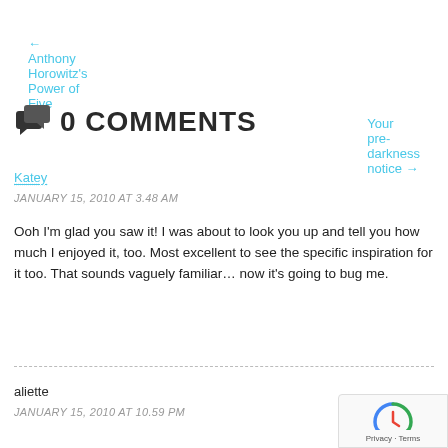← Anthony Horowitz's Power of Five
Your pre-darkness notice →
0 COMMENTS
Katey
JANUARY 15, 2010 AT 3.48 AM
Ooh I'm glad you saw it! I was about to look you up and tell you how much I enjoyed it, too. Most excellent to see the specific inspiration for it too. That sounds vaguely familiar… now it's going to bug me.
aliette
JANUARY 15, 2010 AT 10.59 PM